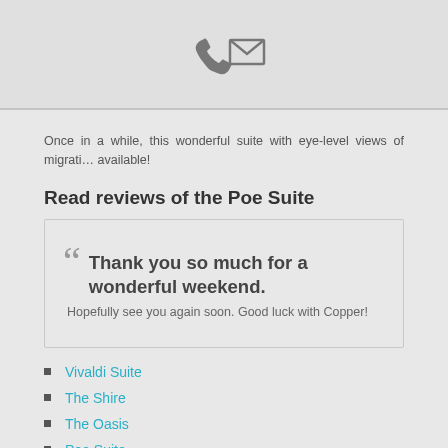[Figure (other): Header bar with phone icon and envelope/mail icon in gray]
Once in a while, this wonderful suite with eye-level views of migrati... available!
Read reviews of the Poe Suite
““ Thank you so much for a wonderful weekend. Hopefully see you again soon. Good luck with Copper!
Vivaldi Suite
The Shire
The Oasis
Poe Suite